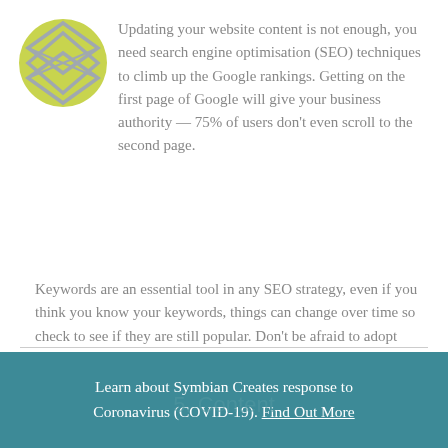[Figure (logo): Symbian Creates logo: yellow-green circle with overlapping diamond/envelope shapes in gray]
Updating your website content is not enough, you need search engine optimisation (SEO) techniques to climb up the Google rankings. Getting on the first page of Google will give your business authority — 75% of users don't even scroll to the second page.
Keywords are an essential tool in any SEO strategy, even if you think you know your keywords, things can change over time so check to see if they are still popular. Don't be afraid to adopt stronger alternatives.
Learn about Symbian Creates response to Coronavirus (COVID-19). Find Out More